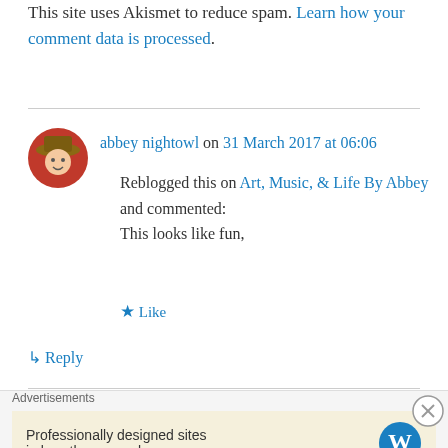This site uses Akismet to reduce spam. Learn how your comment data is processed.
abbey nightowl on 31 March 2017 at 06:06
Reblogged this on Art, Music, & Life By Abbey and commented:
This looks like fun,
★ Like
↳ Reply
Pingback: Nuts about Squares CAL 2017 | It's all in a ...
Advertisements
Professionally designed sites in less than a week